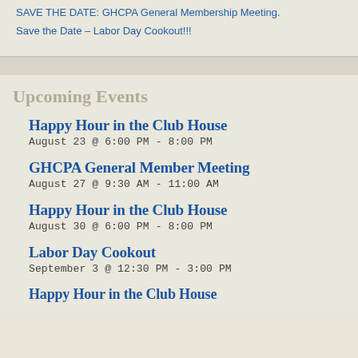SAVE THE DATE: GHCPA General Membership Meeting.
Save the Date – Labor Day Cookout!!!
Upcoming Events
Happy Hour in the Club House
August 23 @ 6:00 PM - 8:00 PM
GHCPA General Member Meeting
August 27 @ 9:30 AM - 11:00 AM
Happy Hour in the Club House
August 30 @ 6:00 PM - 8:00 PM
Labor Day Cookout
September 3 @ 12:30 PM - 3:00 PM
Happy Hour in the Club House